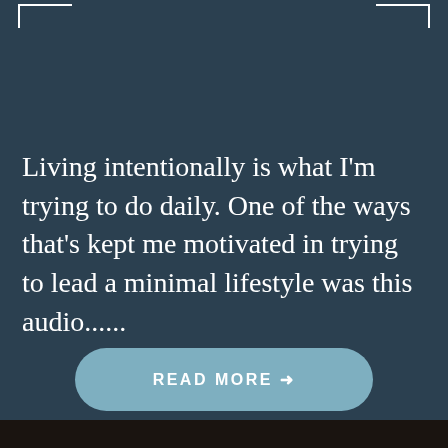[Figure (other): Decorative corner brackets at top-left and top-right of the page, white lines on dark teal background]
Living intentionally is what I'm trying to do daily. One of the ways that's kept me motivated in trying to lead a minimal lifestyle was this audio......
READ MORE →